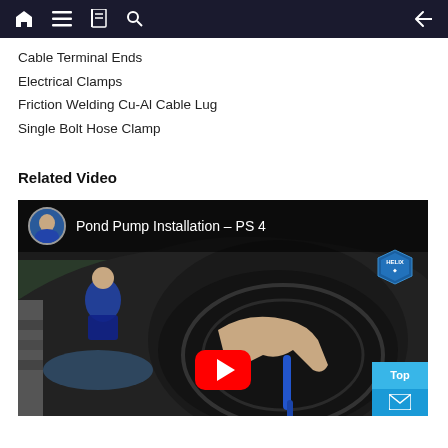Navigation bar with home, menu, book, search icons and back arrow
Cable Terminal Ends
Electrical Clamps
Friction Welding Cu-Al Cable Lug
Single Bolt Hose Clamp
Related Video
[Figure (screenshot): YouTube video thumbnail for 'Pond Pump Installation – PS 4' showing a person's hand inside a dark pond container with a blue handle tool, a red YouTube play button overlay, a circular avatar of a person sitting outdoors, a HELIX diamond logo badge, and Top/mail buttons in blue at bottom right.]